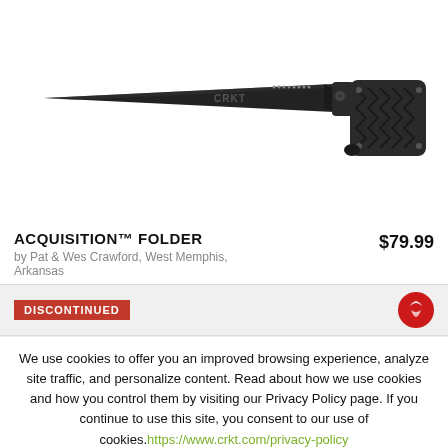[Figure (photo): CRKT Acquisition folder knife, black blade and black textured handle, shown open against white background]
ACQUISITION™ FOLDER
by Pat & Wes Crawford, West Memphis, Arkansas
$79.99
DISCONTINUED
We use cookies to offer you an improved browsing experience, analyze site traffic, and personalize content. Read about how we use cookies and how you control them by visiting our Privacy Policy page. If you continue to use this site, you consent to our use of cookies.https://www.crkt.com/privacy-policy
CLOSE
ACCEPT